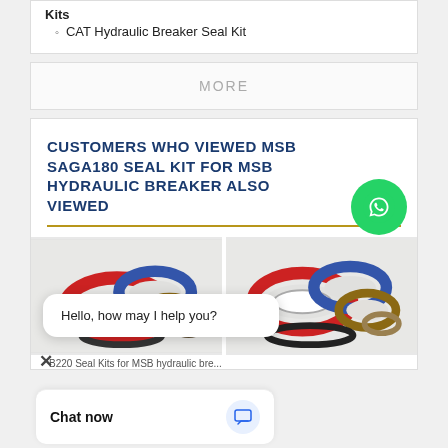Kits
CAT Hydraulic Breaker Seal Kit
MORE
CUSTOMERS WHO VIEWED MSB SAGA180 SEAL KIT FOR MSB HYDRAULIC BREAKER ALSO VIEWED
[Figure (photo): WhatsApp Online contact button with green circle phone icon]
[Figure (photo): Two product images showing hydraulic breaker seal kits with colored O-rings and seals]
B220 Seal Kits for MSB hydraulic bre...
Hello, how may I help you?
Chat now